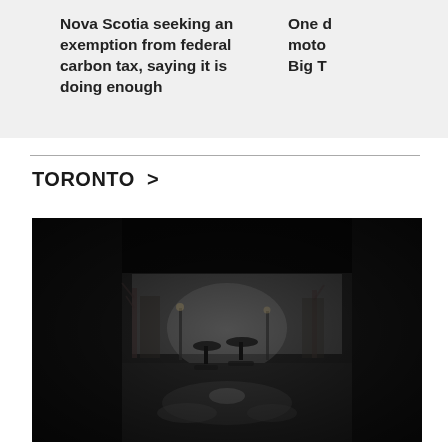Nova Scotia seeking an exemption from federal carbon tax, saying it is doing enough
One d moto Big T
TORONTO >
[Figure (photo): Dark atmospheric photo of people with umbrellas walking on a wet reflective street, viewed from under an arch or tunnel. Rain and puddles visible, bare trees and buildings in background.]